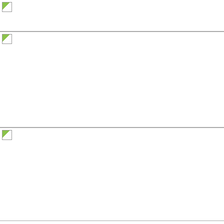[Figure (other): Blank image box 1 (top, broken image icon)]
[Figure (other): Blank image box 2 (middle, broken image icon)]
[Figure (other): Blank image box 3 (bottom, broken image icon)]
Bits
Unlock the Achievement (1)
X3F TV (48)
Cheats (10)
Console wars (248)
Contests and Giveaways (152)
Deals and Bargains (181)
Downloads (191)
E3 (81)
Fan stuff (1093)
Hacks / mods (145)
HD-DVD Releases (64)
How-tos (44)